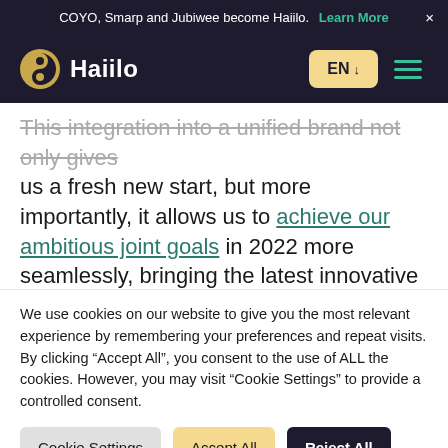COYO, Smarp and Jubiwee become Haiilo. Learn More ×
[Figure (logo): Haiilo logo with circular yin-yang style icon and wordmark 'Haiilo' in white on dark background, with EN language selector and hamburger menu]
This integration into a unified brand not only gives us a fresh new start, but more importantly, it allows us to achieve our ambitious joint goals in 2022 more seamlessly, bringing the latest innovative solutions to new and existing customers.
We use cookies on our website to give you the most relevant experience by remembering your preferences and repeat visits. By clicking "Accept All", you consent to the use of ALL the cookies. However, you may visit "Cookie Settings" to provide a controlled consent.
Cookie Settings | Accept All | Reject All